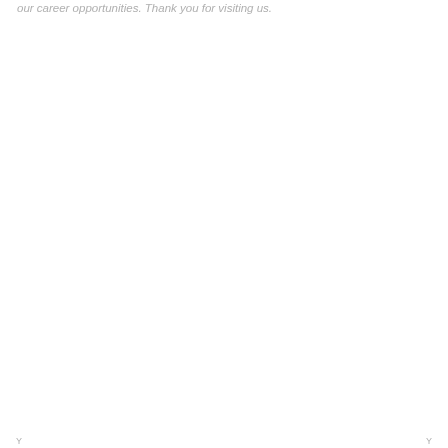our career opportunities. Thank you for visiting us.
Y                                         Y